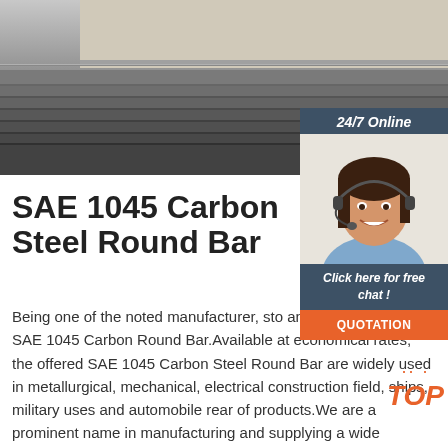[Figure (photo): Close-up photo of stacked steel flat bars/plates showing metallic layered edges, grey tones]
[Figure (photo): Customer service advisor woman wearing headset, smiling, with '24/7 Online' banner and 'Click here for free chat!' and QUOTATION button overlay panel in dark blue and orange]
SAE 1045 Carbon Steel Round Bar
Being one of the noted manufacturer, stockiest and suppliers, weoffer SAE 1045 Carbon Steel Round Bar.Available at economical rates, the offered SAE 1045 Carbon Steel Round Bar are widely used in metallurgical, mechanical, electrical construction field, ships, military uses and automobile rear of products.We are a prominent name in manufacturing and supplying a wide